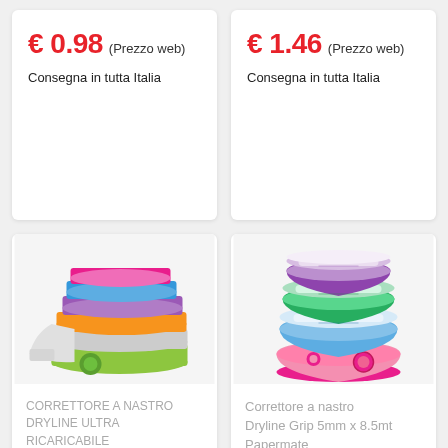€ 0.98 (Prezzo web)
Consegna in tutta Italia
€ 1.46 (Prezzo web)
Consegna in tutta Italia
[Figure (photo): Correttore a nastro Dryline Ultra Ricaricabile 5mmx6mt col.ass. Papermate — multiple correction tape dispensers in various colors stacked]
CORRETTORE A NASTRO DRYLINE ULTRA RICARICABILE 5MMX6MT COL.ASS. PAPERMATE
€ 1.46 (Prezzo web)
[Figure (photo): Correttore a nastro Dryline Grip 5mm x 8.5mt Papermate — stacked correction tape dispensers in purple, green, blue, and pink colors]
Correttore a nastro Dryline Grip 5mm x 8.5mt Papermate
€ 1.98 (Prezzo web)